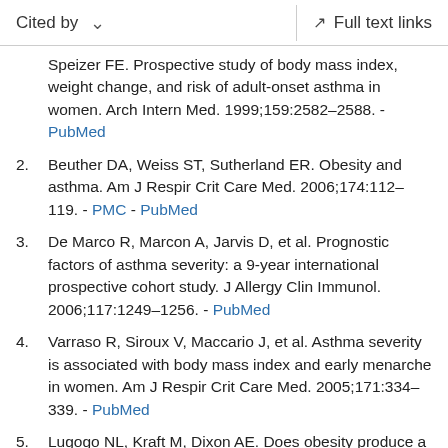Cited by  ∨    Full text links
Speizer FE. Prospective study of body mass index, weight change, and risk of adult-onset asthma in women. Arch Intern Med. 1999;159:2582–2588. - PubMed
2. Beuther DA, Weiss ST, Sutherland ER. Obesity and asthma. Am J Respir Crit Care Med. 2006;174:112–119. - PMC - PubMed
3. De Marco R, Marcon A, Jarvis D, et al. Prognostic factors of asthma severity: a 9-year international prospective cohort study. J Allergy Clin Immunol. 2006;117:1249–1256. - PubMed
4. Varraso R, Siroux V, Maccario J, et al. Asthma severity is associated with body mass index and early menarche in women. Am J Respir Crit Care Med. 2005;171:334–339. - PubMed
5. Lugogo NL, Kraft M, Dixon AE. Does obesity produce a distinct asthma phenotype? J Appl